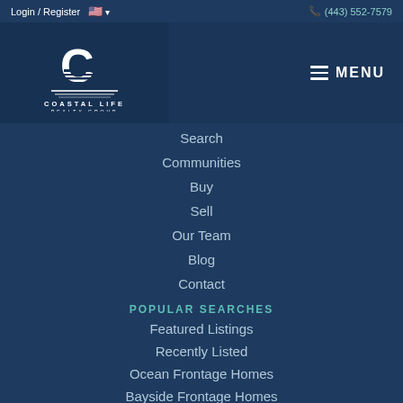Login / Register  🇺🇸 ▾   (443) 552-7579
[Figure (logo): Coastal Life Realty Group logo - stylized white C with horizontal lines on dark navy background, text COASTAL LIFE REALTY GROUP below]
MENU
Search
Communities
Buy
Sell
Our Team
Blog
Contact
POPULAR SEARCHES
Featured Listings
Recently Listed
Ocean Frontage Homes
Bayside Frontage Homes